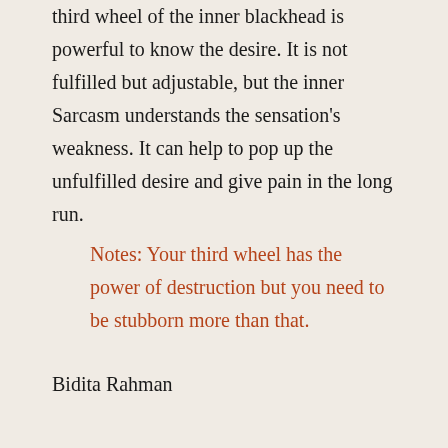third wheel of the inner blackhead is powerful to know the desire. It is not fulfilled but adjustable, but the inner Sarcasm understands the sensation's weakness. It can help to pop up the unfulfilled desire and give pain in the long run.
Notes: Your third wheel has the power of destruction but you need to be stubborn more than that.
Bidita Rahman